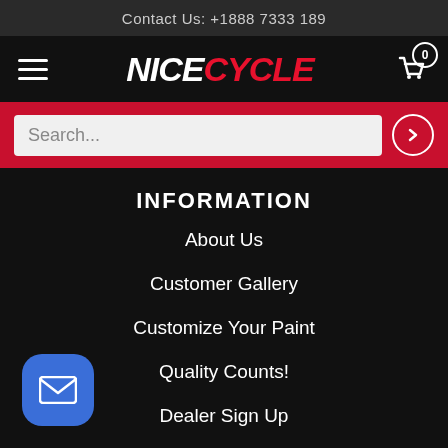Contact Us: +1888 7333 189
[Figure (logo): NiceCycle logo with hamburger menu and cart icon with 0 badge]
Search...
INFORMATION
About Us
Customer Gallery
Customize Your Paint
Quality Counts!
Dealer Sign Up
NiceCycle Blog
POLICIES
[Figure (illustration): Blue rounded square email/envelope icon button in bottom-left corner]